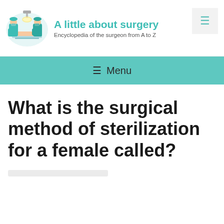[Figure (illustration): Illustration of two surgeons in teal scrubs operating on a patient on a surgical table, with medical equipment in the background]
A little about surgery
Encyclopedia of the surgeon from A to Z
What is the surgical method of sterilization for a female called?